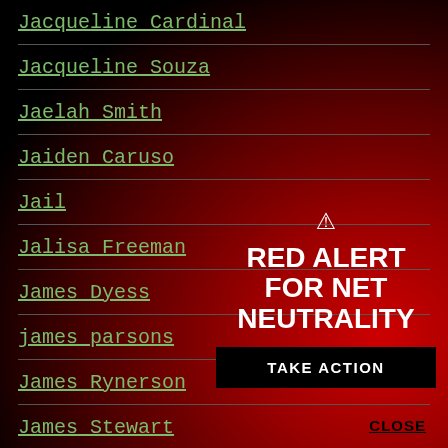Jacqueline Cardinal
Jacqueline Souza
Jaelah Smith
Jaiden Caruso
Jail
Jalisa Freeman
James Dyess
james parsons
James Rynerson
James Stewart
Jammal Harraz
Jared Streeter
[Figure (infographic): Red Alert for Net Neutrality warning overlay with triangle warning icon, bold white text reading RED ALERT FOR NET NEUTRALITY, black TAKE ACTION button, and CLOSE link]
CLOSE